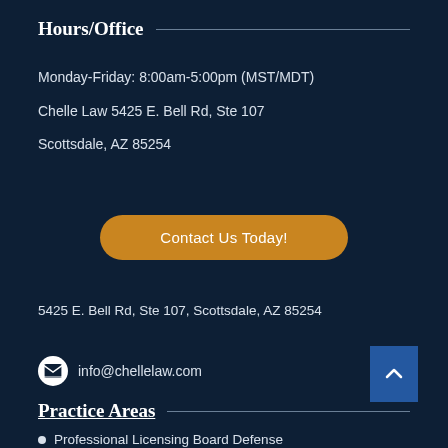Hours/Office
Monday-Friday: 8:00am-5:00pm (MST/MDT)
Chelle Law 5425 E. Bell Rd, Ste 107
Scottsdale, AZ 85254
Contact Us Today!
5425 E. Bell Rd, Ste 107, Scottsdale, AZ 85254
info@chellelaw.com
Practice Areas
Professional Licensing Board Defense